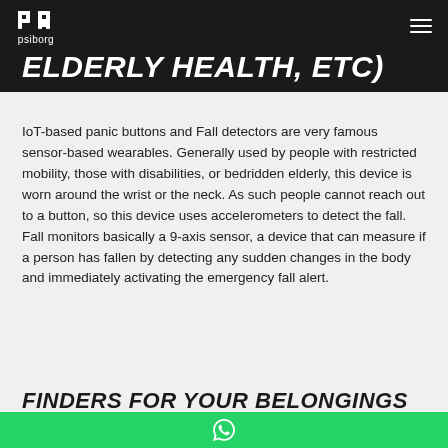psiborg
ELDERLY HEALTH, ETC)
IoT-based panic buttons and Fall detectors are very famous sensor-based wearables. Generally used by people with restricted mobility, those with disabilities, or bedridden elderly, this device is worn around the wrist or the neck. As such people cannot reach out to a button, so this device uses accelerometers to detect the fall. Fall monitors basically a 9-axis sensor, a device that can measure if a person has fallen by detecting any sudden changes in the body and immediately activating the emergency fall alert.
FINDERS FOR YOUR BELONGINGS